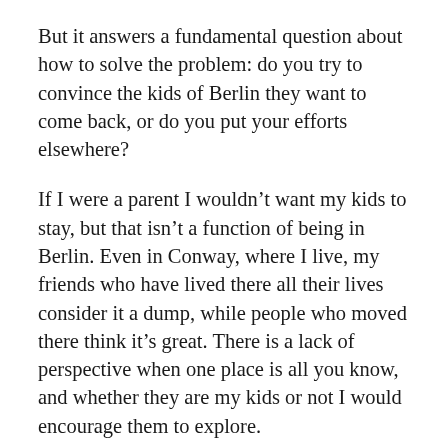But it answers a fundamental question about how to solve the problem: do you try to convince the kids of Berlin they want to come back, or do you put your efforts elsewhere?
If I were a parent I wouldn't want my kids to stay, but that isn't a function of being in Berlin. Even in Conway, where I live, my friends who have lived there all their lives consider it a dump, while people who moved there think it's great. There is a lack of perspective when one place is all you know, and whether they are my kids or not I would encourage them to explore.
But for people from away, this place holds something different. Perhaps that's why some of the most ardent supporters of change in Berlin, from Katie Price to Councillor McConard C…